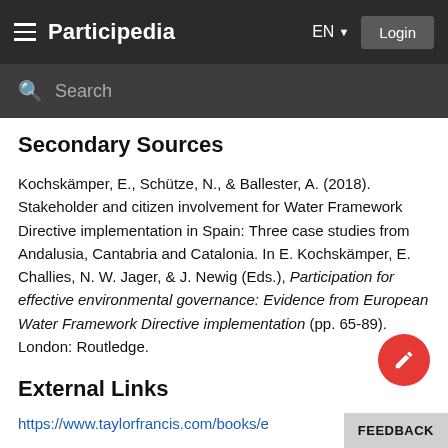Participedia EN Login
Secondary Sources
Kochskämper, E., Schütze, N., & Ballester, A. (2018). Stakeholder and citizen involvement for Water Framework Directive implementation in Spain: Three case studies from Andalusia, Cantabria and Catalonia. In E. Kochskämper, E. Challies, N. W. Jager, & J. Newig (Eds.), Participation for effective environmental governance: Evidence from European Water Framework Directive implementation (pp. 65-89). London: Routledge.
External Links
https://www.taylorfrancis.com/books/e